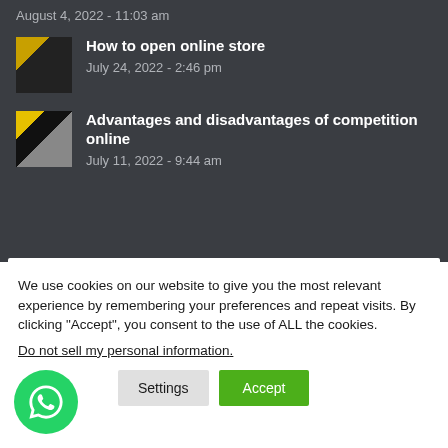August 4, 2022 - 11:03 am
How to open online store
July 24, 2022 - 2:46 pm
Advantages and disadvantages of competition online
July 11, 2022 - 9:44 am
We use cookies on our website to give you the most relevant experience by remembering your preferences and repeat visits. By clicking “Accept”, you consent to the use of ALL the cookies.
Do not sell my personal information.
Settings
Accept